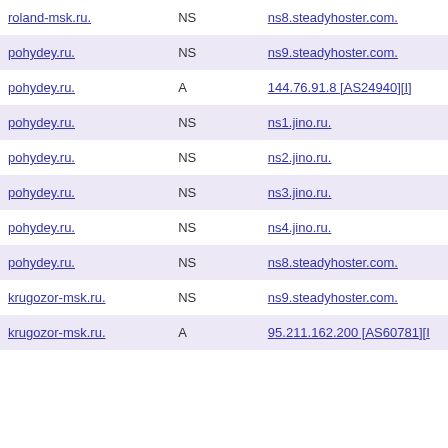| Domain | Type | Value |
| --- | --- | --- |
| roland-msk.ru. | NS | ns8.steadyhoster.com. |
| pohydey.ru. | NS | ns9.steadyhoster.com. |
| pohydey.ru. | A | 144.76.91.8 [AS24940][I] |
| pohydey.ru. | NS | ns1.jino.ru. |
| pohydey.ru. | NS | ns2.jino.ru. |
| pohydey.ru. | NS | ns3.jino.ru. |
| pohydey.ru. | NS | ns4.jino.ru. |
| pohydey.ru. | NS | ns8.steadyhoster.com. |
| krugozor-msk.ru. | NS | ns9.steadyhoster.com. |
| krugozor-msk.ru. | A | 95.211.162.200 [AS60781][I] |